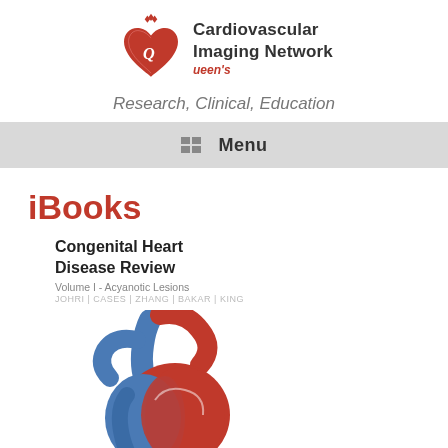[Figure (logo): Cardiovascular Imaging Network Queen's logo with red heart and text]
Research, Clinical, Education
Menu
iBooks
[Figure (illustration): Book cover for 'Congenital Heart Disease Review, Volume I - Acyanotic Lesions' by Johri | Cases | Zhang | Bakar | King, with an illustration of a heart in red and blue]
Congenital Heart Disease Review
Volume I - Acyanotic Lesions
JOHRI | CASES | ZHANG | BAKAR | KING